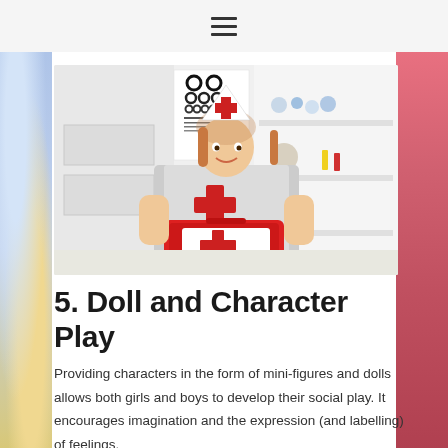[Figure (photo): Child dressed as a doctor/nurse wearing a white medical hat with red cross, holding a red toy first aid kit, standing in what appears to be a doctor's office with an eye chart visible in the background]
5. Doll and Character Play
Providing characters in the form of mini-figures and dolls allows both girls and boys to develop their social play. It encourages imagination and the expression (and labelling) of feelings.